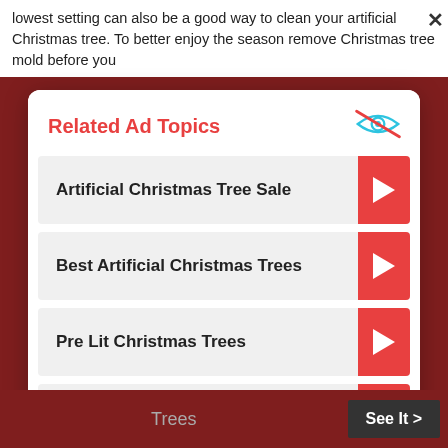lowest setting can also be a good way to clean your artificial Christmas tree. To better enjoy the season remove Christmas tree mold before you
Related Ad Topics
Artificial Christmas Tree Sale
Best Artificial Christmas Trees
Pre Lit Christmas Trees
6ft Christmas Tree
Continue to Site >>
Trees
See It >